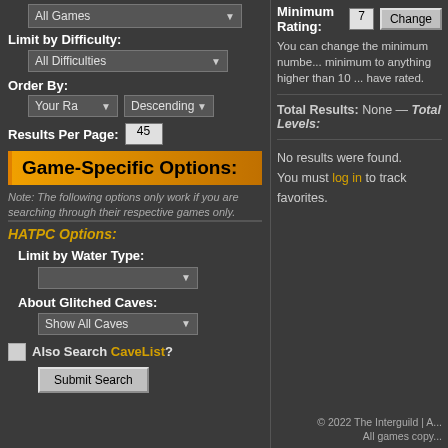All Games (dropdown)
Limit by Difficulty:
All Difficulties
Order By:
Your Ra (dropdown) | Descending (dropdown)
Results Per Page: 45
Game-Specific Options:
Note: The following options only work if you are searching through their respective games only.
HATPC Options:
Limit by Water Type:
About Glitched Caves:
Show All Caves
Also Search CaveList?
Submit Search
Minimum Rating: 7  Change
You can change the minimum numbe... minimum to anything higher than 10 ... have rated.
Total Results: None — Total Levels:
No results were found.
You must log in to track favorites.
© 2022 The Interguild | A...
All games copy...